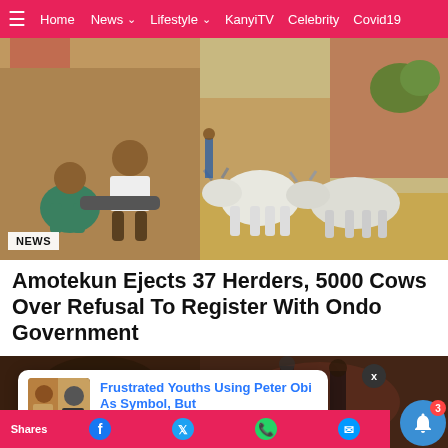Home  News  Lifestyle  KanyiTV  Celebrity  Covid19
[Figure (photo): Left: Two children sitting outdoors, one in white t-shirt. Right: Several white/grey cows standing in a yard.]
NEWS
Amotekun Ejects 37 Herders, 5000 Cows Over Refusal To Register With Ondo Government
[Figure (photo): Bottom photo strip showing dark/blurry image with a popup notification overlay reading: Frustrated Youths Using Peter Obi As Symbol, But — 15 minutes ago]
Shares  [Facebook] [Twitter] [WhatsApp] [Messenger]